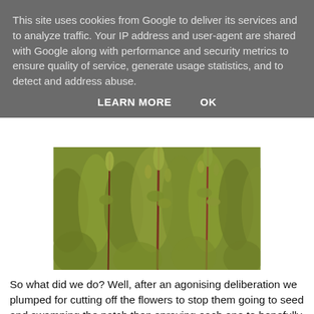This site uses cookies from Google to deliver its services and to analyze traffic. Your IP address and user-agent are shared with Google along with performance and security metrics to ensure quality of service, generate usage statistics, and to detect and address abuse.
LEARN MORE    OK
[Figure (photo): Close-up photo of tall green wild plants or weeds with small flowers/seeds against a blurred greenish background, with reddish-brown stems visible.]
So what did we do? Well, after an agonising deliberation we plumped for cutting off the flowers to stop them going to seed and swamping the patch then spraying each one to hopefully kill it down to the root.
I suspect whole huge patches of the wildflowers will be instantly killed off too but it's collateral damage. They'll be